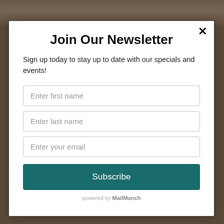Join Our Newsletter
Sign up today to stay up to date with our specials and events!
Enter first name
Enter last name
Enter your email
Subscribe
powered by MailMunch